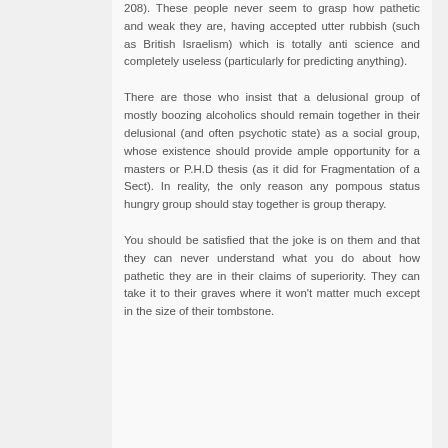208). These people never seem to grasp how pathetic and weak they are, having accepted utter rubbish (such as British Israelism) which is totally anti science and completely useless (particularly for predicting anything).
There are those who insist that a delusional group of mostly boozing alcoholics should remain together in their delusional (and often psychotic state) as a social group, whose existence should provide ample opportunity for a masters or P.H.D thesis (as it did for Fragmentation of a Sect). In reality, the only reason any pompous status hungry group should stay together is group therapy.
You should be satisfied that the joke is on them and that they can never understand what you do about how pathetic they are in their claims of superiority. They can take it to their graves where it won't matter much except in the size of their tombstone.